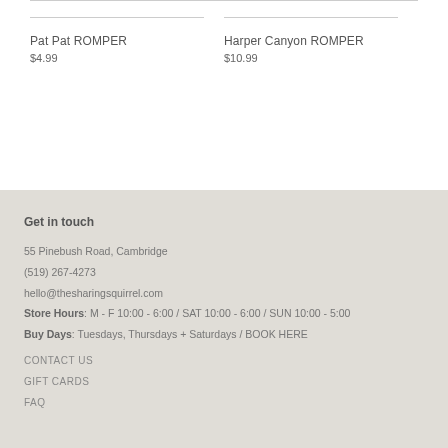Pat Pat ROMPER
$4.99
Harper Canyon ROMPER
$10.99
Get in touch
55 Pinebush Road, Cambridge
(519) 267-4273
hello@thesharingsquirrel.com
Store Hours: M - F 10:00 - 6:00 / SAT 10:00 - 6:00 / SUN 10:00 - 5:00
Buy Days: Tuesdays, Thursdays + Saturdays / BOOK HERE
CONTACT US
GIFT CARDS
FAQ